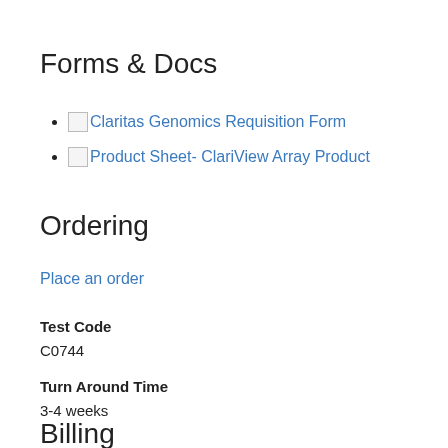Forms & Docs
Claritas Genomics Requisition Form
Product Sheet- ClariView Array Product
Ordering
Place an order
Test Code
C0744
Turn Around Time
3-4 weeks
Billing